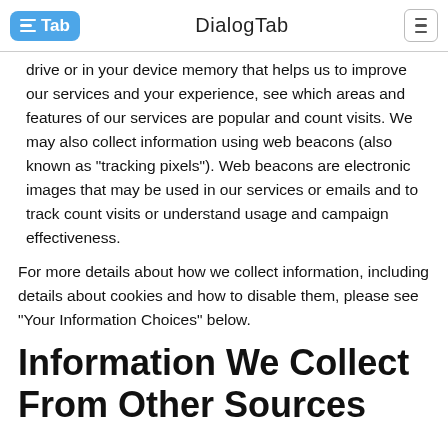DialogTab
drive or in your device memory that helps us to improve our services and your experience, see which areas and features of our services are popular and count visits. We may also collect information using web beacons (also known as "tracking pixels"). Web beacons are electronic images that may be used in our services or emails and to track count visits or understand usage and campaign effectiveness.
For more details about how we collect information, including details about cookies and how to disable them, please see "Your Information Choices" below.
Information We Collect From Other Sources